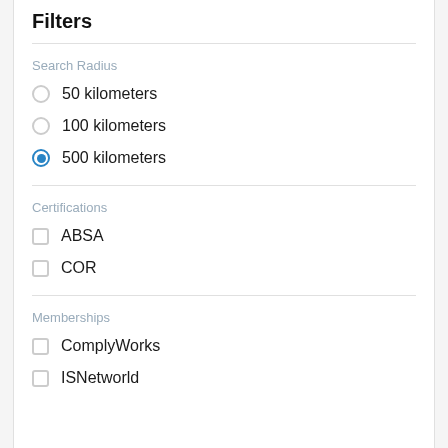Filters
Search Radius
50 kilometers
100 kilometers
500 kilometers (selected)
Certifications
ABSA
COR
Memberships
ComplyWorks
ISNetworld